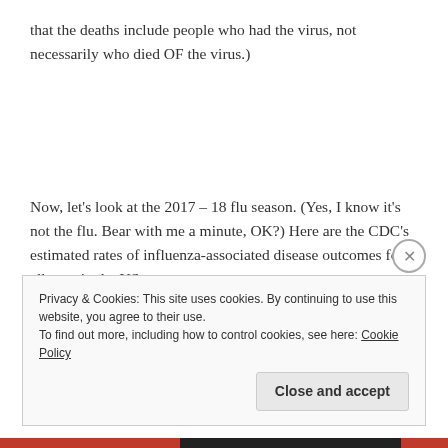that the deaths include people who had the virus, not necessarily who died OF the virus.)
Now, let's look at the 2017 – 18 flu season. (Yes, I know it's not the flu. Bear with me a minute, OK?) Here are the CDC's estimated rates of influenza-associated disease outcomes for all ages in the US:
Privacy & Cookies: This site uses cookies. By continuing to use this website, you agree to their use.
To find out more, including how to control cookies, see here: Cookie Policy
Close and accept